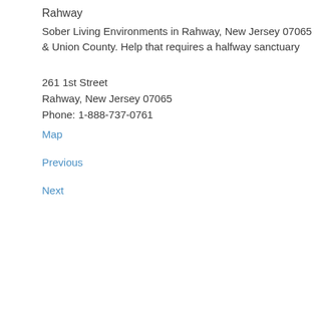Rahway
Sober Living Environments in Rahway, New Jersey 07065 & Union County. Help that requires a halfway sanctuary
261 1st Street
Rahway, New Jersey 07065
Phone: 1-888-737-0761
Map
Previous
Next